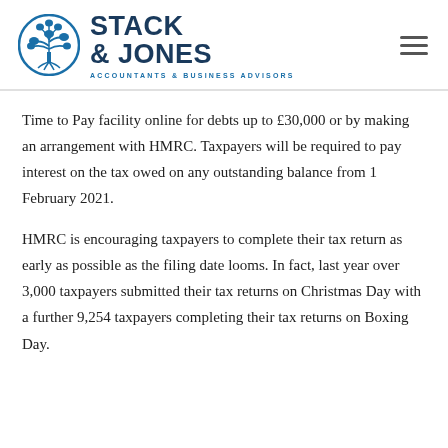[Figure (logo): Stack & Jones Accountants & Business Advisors logo with tree emblem in blue circle]
Time to Pay facility online for debts up to £30,000 or by making an arrangement with HMRC. Taxpayers will be required to pay interest on the tax owed on any outstanding balance from 1 February 2021.
HMRC is encouraging taxpayers to complete their tax return as early as possible as the filing date looms. In fact, last year over 3,000 taxpayers submitted their tax returns on Christmas Day with a further 9,254 taxpayers completing their tax returns on Boxing Day.